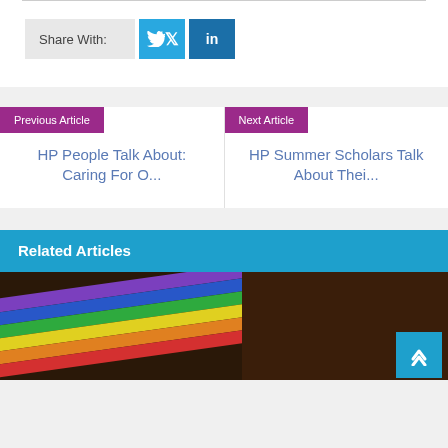Share With:
Previous Article
HP People Talk About: Caring For O...
Next Article
HP Summer Scholars Talk About Thei...
Related Articles
[Figure (photo): A hand holding a rainbow-colored wristband against a dark background]